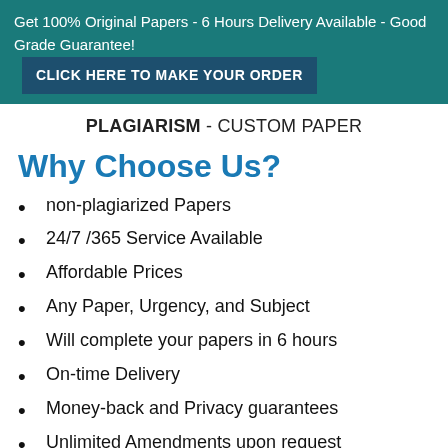Get 100% Original Papers - 6 Hours Delivery Available - Good Grade Guarantee! CLICK HERE TO MAKE YOUR ORDER
PLAGIARISM - CUSTOM PAPER
Why Choose Us?
non-plagiarized Papers
24/7 /365 Service Available
Affordable Prices
Any Paper, Urgency, and Subject
Will complete your papers in 6 hours
On-time Delivery
Money-back and Privacy guarantees
Unlimited Amendments upon request
Satisfaction guarantee